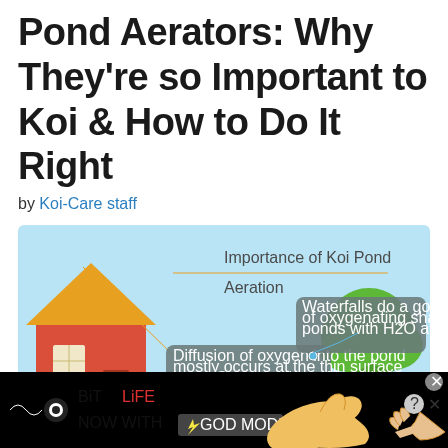Pond Aerators: Why They're so Important to Koi & How to Do It Right
by Koi-Care staff
[Figure (infographic): Infographic titled 'Importance of Koi Pond Aeration' showing a cartoon house, waterfall with rocks, and a tree. Two tooltip boxes: 'Diffusion of oxygen into the pond mostly occurs at the thin surface layer. Constant flow of bubbles up greatly increases oxygenation rate.' and 'Waterfalls do a good job of oxygenating shallow ponds with H2O agitation'.]
[Figure (infographic): Advertisement banner for BitLife game: 'NOW WITH GOD MODE' with cartoon hands pointing and lightning bolt graphic.]